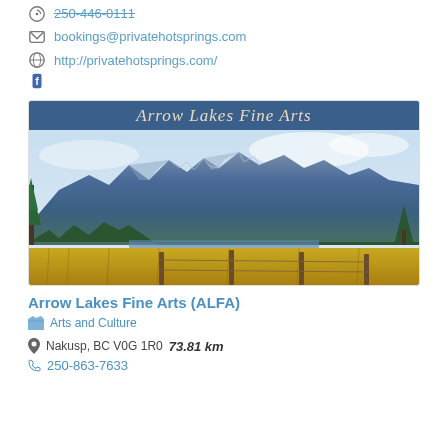250-446-0111
bookings@privatehotsprings.com
http://privatehotsprings.com/
Facebook icon
[Figure (photo): Arrow Lakes Fine Arts banner with a watercolor painting of mountains with blue peaks, green trees, a lake, and golden yellow foreground fields with fence posts.]
Arrow Lakes Fine Arts (ALFA)
Arts and Culture
Nakusp, BC V0G 1R0   73.81 km
250-863-7633